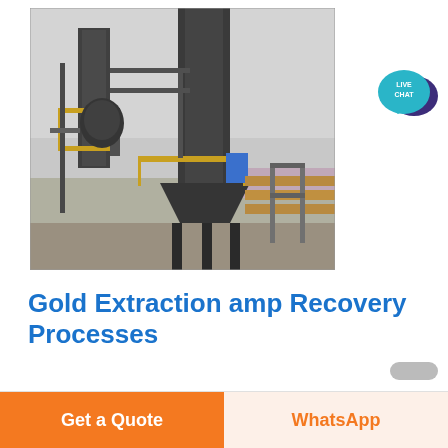[Figure (photo): Industrial gold processing plant or mining facility with large dark metal silos, towers, pipelines, yellow scaffolding/railings, and blue equipment component visible. Overcast sky. Gravel ground.]
[Figure (illustration): Live Chat button: teal speech bubble with 'LIVE CHAT' text and dark purple larger speech bubble behind it]
Gold Extraction amp Recovery Processes
Get a Quote
WhatsApp